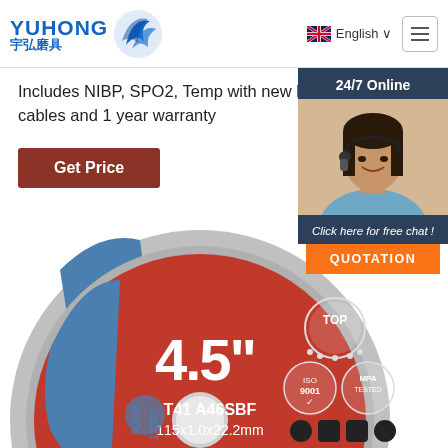YUHONG 宇弘磨具 | English
Includes NIBP, SPO2, Temp with new battery, new cables and 1 year warranty
Get Price
[Figure (other): Customer service agent photo with 24/7 Online banner and QUOTATION button]
[Figure (photo): Yuhong 4.5" cutting disc labeled T41 A46SBF 115x1.0x22.2mm, R.P.M 13300, with ISO 9001 and MPA TESTED certification logos]